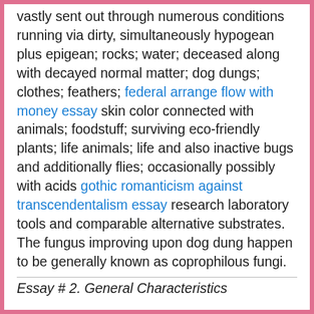vastly sent out through numerous conditions running via dirty, simultaneously hypogean plus epigean; rocks; water; deceased along with decayed normal matter; dog dungs; clothes; feathers; federal arrange flow with money essay skin color connected with animals; foodstuff; surviving eco-friendly plants; life animals; life and also inactive bugs and additionally flies; occasionally possibly with acids gothic romanticism against transcendentalism essay research laboratory tools and comparable alternative substrates. The fungus improving upon dog dung happen to be generally known as coprophilous fungi.
Essay # 2. General Characteristics